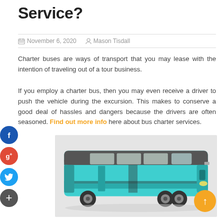Service?
November 6, 2020   Mason Tisdall
Charter buses are ways of transport that you may lease with the intention of traveling out of a tour business.
If you employ a charter bus, then you may even receive a driver to push the vehicle during the excursion. This makes to conserve a good deal of hassles and dangers because the drivers are often seasoned. Find out more info here about bus charter services.
[Figure (photo): A modern teal/turquoise articulated charter bus shown in side profile against a light grey background.]